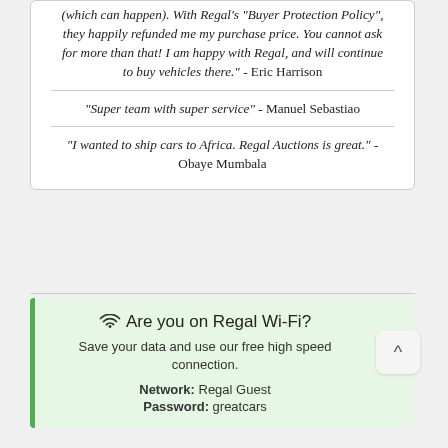(which can happen). With Regal's "Buyer Protection Policy", they happily refunded me my purchase price. You cannot ask for more than that! I am happy with Regal, and will continue to buy vehicles there." - Eric Harrison
"Super team with super service" - Manuel Sebastiao
"I wanted to ship cars to Africa. Regal Auctions is great." - Obaye Mumbala
Are you on Regal Wi-Fi?
Save your data and use our free high speed connection.
Network: Regal Guest
Password: greatcars